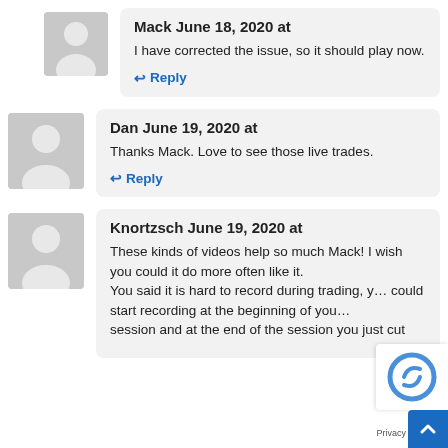Mack June 18, 2020 at
I have corrected the issue, so it should play now.
Reply
Dan June 19, 2020 at
Thanks Mack. Love to see those live trades.
Reply
Knortzsch June 19, 2020 at
These kinds of videos help so much Mack! I wish you could it do more often like it. You said it is hard to record during trading, y… could start recording at the beginning of you… session and at the end of the session you just cut